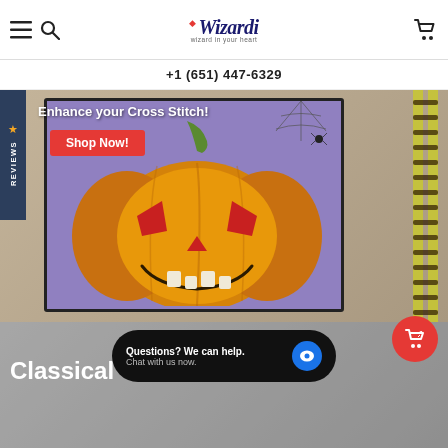Wizardi — wizard in your heart | +1 (651) 447-6329
[Figure (photo): Hero banner showing a Halloween cross stitch artwork of a jack-o-lantern pumpkin on a purple background with spider web details, framed with a yellow-green ladder/frame border on a beige background. Text overlay: 'Enhance your Cross Stitch!' with an orange 'Shop Now!' button.]
Enhance your Cross Stitch!
Shop Now!
REVIEWS
[Figure (photo): Bottom section showing partial view of a Classical Cross Stitch product, light gray/white background.]
Classical Cross Stitch
Questions? We can help. Chat with us now.